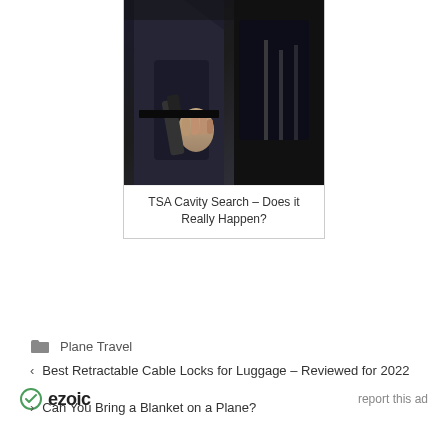[Figure (photo): A person in dark clothing being scanned with a handheld metal detector wand at what appears to be a security checkpoint.]
TSA Cavity Search – Does it Really Happen?
ezoic   report this ad
Plane Travel
< Best Retractable Cable Locks for Luggage – Reviewed for 2022
> Can You Bring a Blanket on a Plane?